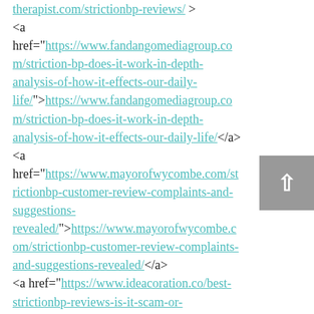therapist.com/strictionbp-reviews/ </a> <a href="https://www.fandangomediagroup.com/striction-bp-does-it-work-in-depth-analysis-of-how-it-effects-our-daily-life/">https://www.fandangomediagroup.com/striction-bp-does-it-work-in-depth-analysis-of-how-it-effects-our-daily-life/</a> <a href="https://www.mayorofwycombe.com/strictionbp-customer-review-complaints-and-suggestions-revealed/">https://www.mayorofwycombe.com/strictionbp-customer-review-complaints-and-suggestions-revealed/</a> <a href="https://www.ideacoration.co/best-strictionbp-reviews-is-it-scam-or-legit/">https://www.ideacoration.co/best-strictionbp-reviews-is-it-scam-or-legit/</a> <a href="https://www.chicagopropertiesgroup.com/strictionbp-formula-reviews-secret-claim-explained-